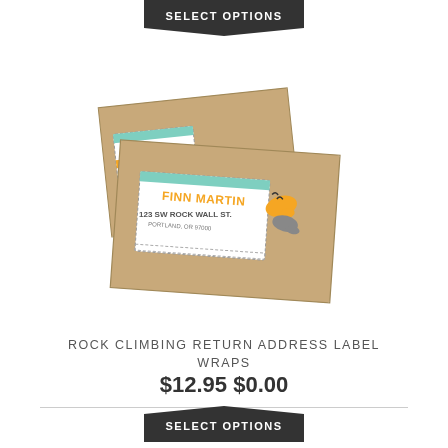[Figure (other): Two kraft brown envelopes with rock climbing themed return address label wraps. The back envelope shows a label with 'WILCOX' text in teal and orange. The front envelope shows a label with 'FINN MARTIN, 123 SW ROCK WALL ST.' text and rock climbing shoe graphics in orange and grey.]
ROCK CLIMBING RETURN ADDRESS LABEL WRAPS
$12.95 $0.00